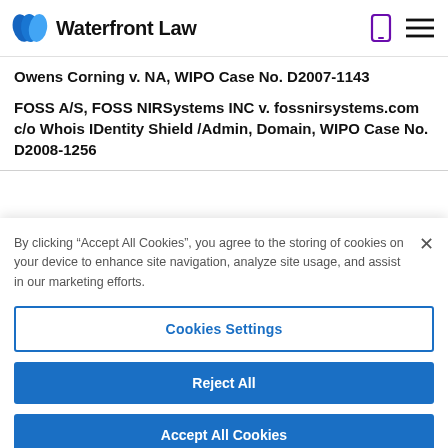Waterfront Law
Owens Corning v. NA, WIPO Case No. D2007-1143
FOSS A/S, FOSS NIRSystems INC v. fossnirsystems.com c/o Whois IDentity Shield /Admin, Domain, WIPO Case No. D2008-1256
By clicking “Accept All Cookies”, you agree to the storing of cookies on your device to enhance site navigation, analyze site usage, and assist in our marketing efforts.